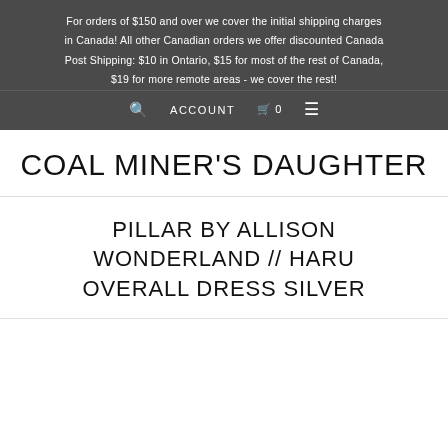For orders of $150 and over we cover the initial shipping charges in Canada! All other Canadian orders we offer discounted Canada Post Shipping: $10 in Ontario, $15 for most of the rest of Canada, $19 for more remote areas - we cover the rest!
🔍  ACCOUNT  🛒 0  ≡
COAL MINER'S DAUGHTER
PILLAR BY ALLISON WONDERLAND // HARU OVERALL DRESS SILVER